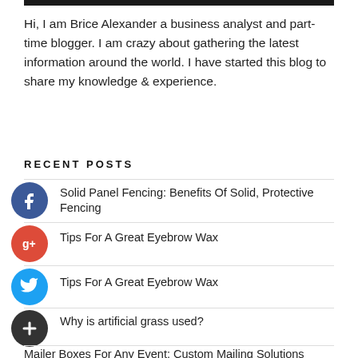Hi, I am Brice Alexander a business analyst and part-time blogger. I am crazy about gathering the latest information around the world. I have started this blog to share my knowledge & experience.
RECENT POSTS
Solid Panel Fencing: Benefits Of Solid, Protective Fencing
Tips For A Great Eyebrow Wax
Why is artificial grass used?
Mailer Boxes For Any Event: Custom Mailing Solutions
Benefits of a Roller Cart